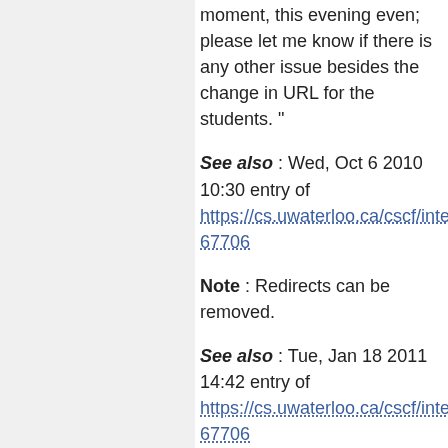moment, this evening even; please let me know if there is any other issue besides the change in URL for the students. "
See also : Wed, Oct 6 2010 10:30 entry of https://cs.uwaterloo.ca/cscf/internal/re...67706
Note : Redirects can be removed.
See also : Tue, Jan 18 2011 14:42 entry of https://cs.uwaterloo.ca/cscf/internal/re...67706
Purpose of This Step
"The new installation has meant that all [the course material for CS 116] and...